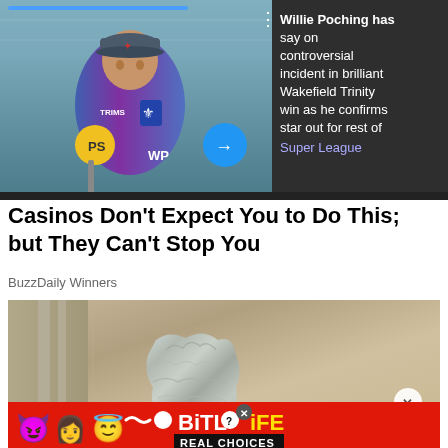[Figure (photo): Video player showing a rugby coach or player being interviewed, wearing a blue and purple jersey with a cap, holding a microphone labeled PS and WP. The video has a dark overlay on the right side with text about Willie Poching.]
Willie Poching has say on controversial incident in brilliant Wakefield Trinity win as he confirms star out for rest of Super League
Casinos Don't Expect You to Do This; but They Can't Stop You
BuzzDaily Winners
[Figure (photo): Close-up photo of a door handle with crumpled aluminum foil wrapped around it, against a tan/brown door background.]
[Figure (other): BitLife advertisement banner with emoji characters (devil, woman, angel emoji) and BitLife logo with REAL CHOICES text on red and black background.]